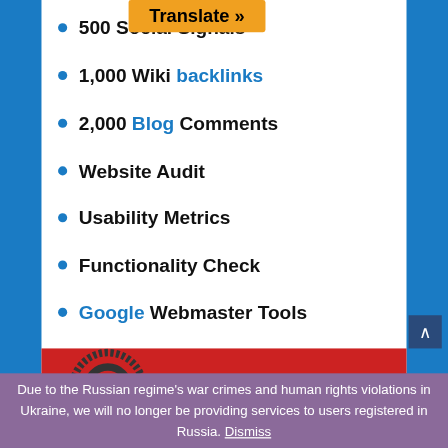500 Social Signals
1,000 Wiki backlinks
2,000 Blog Comments
Website Audit
Usability Metrics
Functionality Check
Google Webmaster Tools
Due to the Russian regime's war crimes and human rights violations in Ukraine, we will no longer be providing services to users registered in Russia. Dismiss